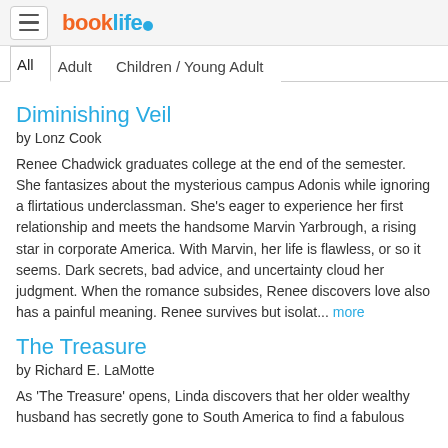booklife
All  Adult  Children / Young Adult
Diminishing Veil
by Lonz Cook
Renee Chadwick graduates college at the end of the semester. She fantasizes about the mysterious campus Adonis while ignoring a flirtatious underclassman. She's eager to experience her first relationship and meets the handsome Marvin Yarbrough, a rising star in corporate America. With Marvin, her life is flawless, or so it seems. Dark secrets, bad advice, and uncertainty cloud her judgment. When the romance subsides, Renee discovers love also has a painful meaning. Renee survives but isolat... more
The Treasure
by Richard E. LaMotte
As 'The Treasure' opens, Linda discovers that her older wealthy husband has secretly gone to South America to find a fabulous